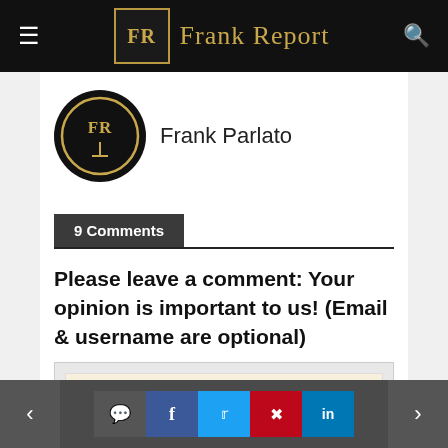Frank Report
[Figure (logo): Frank Parlato author avatar: circular black badge with gold FR logo]
Frank Parlato
9 Comments
Please leave a comment: Your opinion is important to us! (Email & username are optional)
Navigation and social share buttons